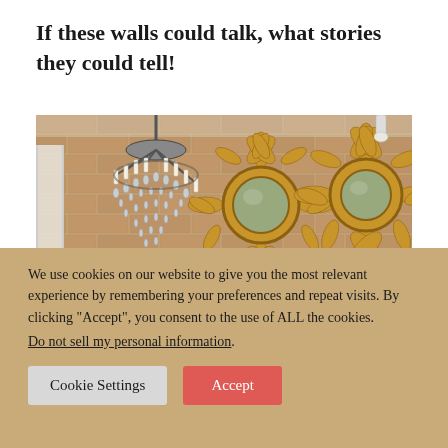If these walls could talk, what stories they could tell!
[Figure (photo): Interior antique shop photo showing a large crystal chandelier on the left and two ornate golden baroque sunburst mirrors hanging on a brick wall in the background, with a gilded frame partially visible in the lower right.]
We use cookies on our website to give you the most relevant experience by remembering your preferences and repeat visits. By clicking “Accept”, you consent to the use of ALL the cookies.
Do not sell my personal information.